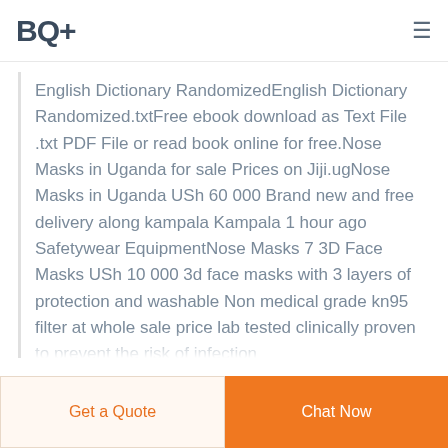BQ+
English Dictionary RandomizedEnglish Dictionary Randomized.txtFree ebook download as Text File .txt PDF File or read book online for free.Nose Masks in Uganda for sale Prices on Jiji.ugNose Masks in Uganda USh 60 000 Brand new and free delivery along kampala Kampala 1 hour ago Safetywear EquipmentNose Masks 7 3D Face Masks USh 10 000 3d face masks with 3 layers of protection and washable Non medical grade kn95 filter at whole sale price lab tested clinically proven to prevent the risk of infection
uganda air cushion mask manufacture
Get a Quote
Chat Now